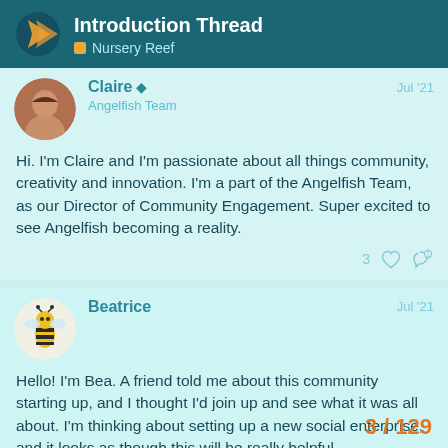Introduction Thread — Nursery Reef
Claire ♦ — Angelfish Team — Jul '21
Hi. I'm Claire and I'm passionate about all things community, creativity and innovation. I'm a part of the Angelfish Team, as our Director of Community Engagement. Super excited to see Angelfish becoming a reality.
Beatrice — Jul '21
Hello! I'm Bea. A friend told me about this community starting up, and I thought I'd join up and see what it was all about. I'm thinking about setting up a new social enterprise, and it looks as though this will be really helpful.
3 / 129